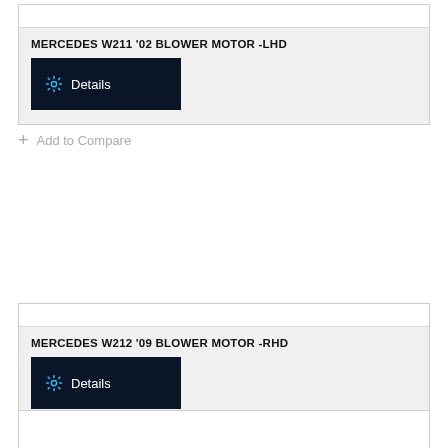MERCEDES W211 '02 BLOWER MOTOR -LHD
[Figure (screenshot): Dark navy Details button with gear icon]
+ Add to Compare
MERCEDES W212 '09 BLOWER MOTOR -RHD
[Figure (screenshot): Dark navy Details button with gear icon]
+ Add to Compare
[Figure (other): Partial third product card with gray image placeholder at bottom]